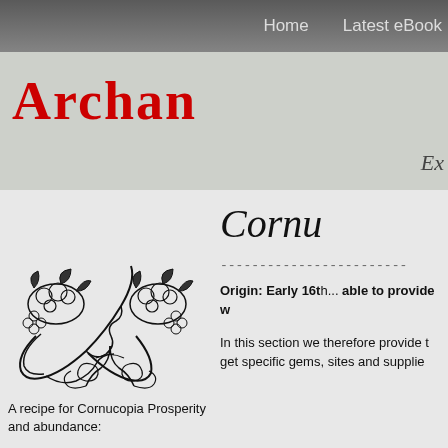Home    Latest eBook
Archan
Ex
[Figure (illustration): Black and white illustration of two cornucopias (horns of plenty) filled with fruits and vegetables, intertwined with decorative scrollwork and ribbons]
A recipe for Cornucopia Prosperity and abundance:
Cornuc
-----------------------------
Origin: Early 16th... able to provide w
In this section we therefore provide t get specific gems, sites and supplie